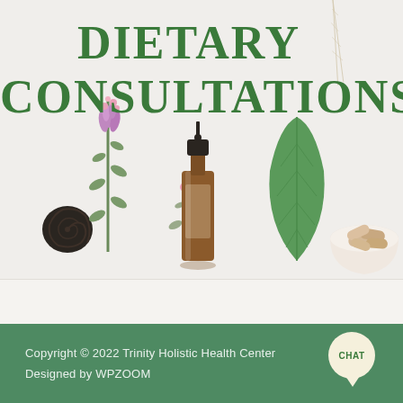[Figure (photo): Holistic health flat-lay photo on light gray background: purple herb sprig on left, dark spiral shell, small pink herb, amber dropper bottle in center, large green leaf, white bowl with supplement capsules on right, and a thin feather/plant stem in upper right corner.]
DIETARY CONSULTATIONS
Copyright © 2022 Trinity Holistic Health Center
Designed by WPZOOM